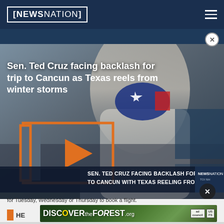NEWSNATION
[Figure (screenshot): Video thumbnail showing Sen. Ted Cruz wearing a Texas flag face mask at what appears to be an airport. Overlay shows play button icon in orange/yellow bracket design. Lower-third chyron reads: SEN. TED CRUZ FACING BACKLASH FOR TRIP TO CANCUN WITH TEXAS REELING FROM STORM. NewsNation watermark bottom right.]
Sen. Ted Cruz facing backlash for trip to Cancun as Texas reels from winter storms
for Tuesday, Wednesday or Thursday to book a flight.
[Figure (other): Advertisement banner: DISCOVERtheForest.org with Ad Council and US Forest Service logos]
HE